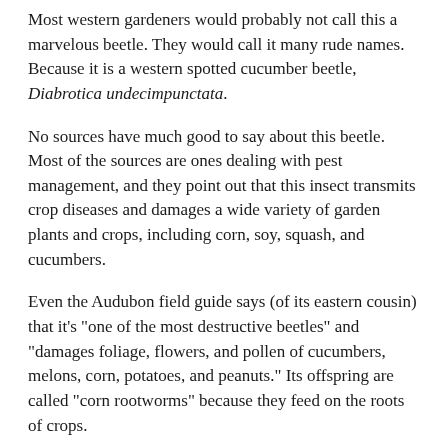Most western gardeners would probably not call this a marvelous beetle. They would call it many rude names. Because it is a western spotted cucumber beetle, Diabrotica undecimpunctata.
No sources have much good to say about this beetle. Most of the sources are ones dealing with pest management, and they point out that this insect transmits crop diseases and damages a wide variety of garden plants and crops, including corn, soy, squash, and cucumbers.
Even the Audubon field guide says (of its eastern cousin) that it's "one of the most destructive beetles" and "damages foliage, flowers, and pollen of cucumbers, melons, corn, potatoes, and peanuts." Its offspring are called "corn rootworms" because they feed on the roots of crops.
I would surely pluck this beetle off my vegetables if I found it in our garden, but this beetle was minding its own business and trundling around in its native habitat, ignorant of the fact that it was named after a vegetable (actually, a fruit) that itself is native to southeast Asia.